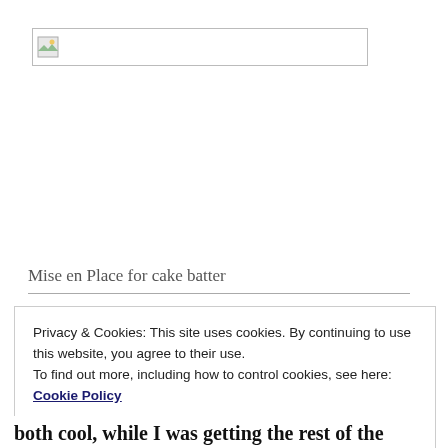[Figure (photo): Broken/placeholder image thumbnail in a bordered rectangle]
Mise en Place for cake batter
Privacy & Cookies: This site uses cookies. By continuing to use this website, you agree to their use.
To find out more, including how to control cookies, see here: Cookie Policy
Close and accept
both cool, while I was getting the rest of the